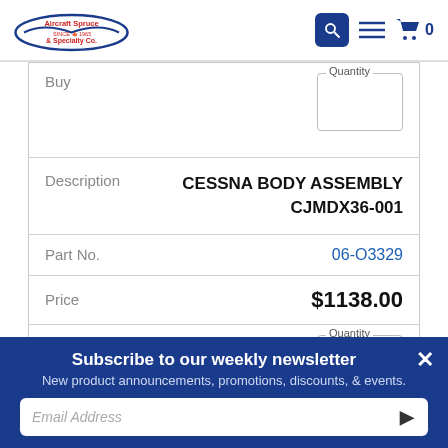[Figure (logo): Aircraft Spruce & Specialty Co. logo with maple leaf, Since 1965]
| Field | Value |
| --- | --- |
| Buy | Quantity |
| Description | CESSNA BODY ASSEMBLY CJMDX36-001 |
| Part No. | 06-O3329 |
| Price | $1138.00 |
| Buy | Quantity |
Subscribe to our weekly newsletter
New product announcements, promotions, discounts, & events.
Email Address